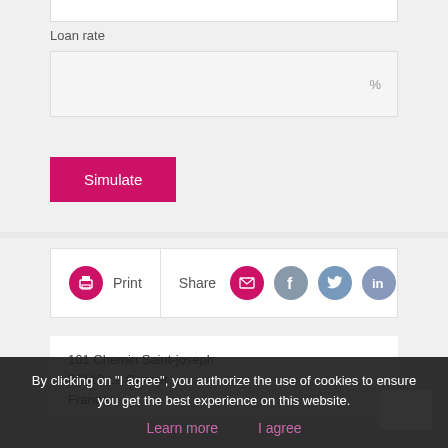Loan rate
%
Simulate
Print
Share
101 Chemin Saint-joseph
06110 Le Cannet
France
By clicking on "I agree", you authorize the use of cookies to ensure you get the best experience on this website.
Learn more
I agree